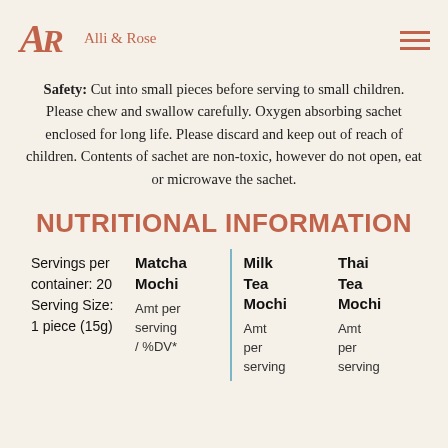Alli & Rose
Safety: Cut into small pieces before serving to small children. Please chew and swallow carefully. Oxygen absorbing sachet enclosed for long life. Please discard and keep out of reach of children. Contents of sachet are non-toxic, however do not open, eat or microwave the sachet.
NUTRITIONAL INFORMATION
|  | Matcha Mochi | Milk Tea Mochi | Thai Tea Mochi |
| --- | --- | --- | --- |
| Servings per container: 20
Serving Size: 1 piece (15g) | Amt per serving / %DV* | Amt per serving | Amt per serving |